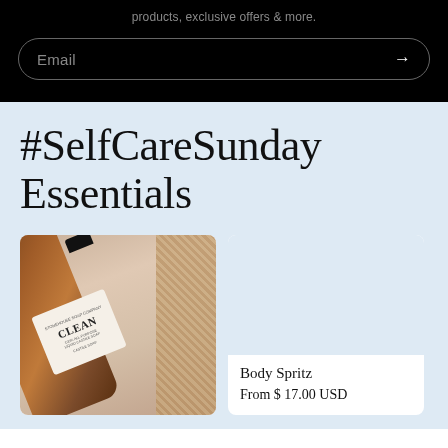products, exclusive offers & more.
Email →
#SelfCareSunday Essentials
[Figure (photo): Product photo of a brown amber soap bottle labeled CLEAN, 100% All-Purpose Liquid Castile Soap, lying diagonally with a woven textile in the background]
Body Spritz
From $ 17.00 USD